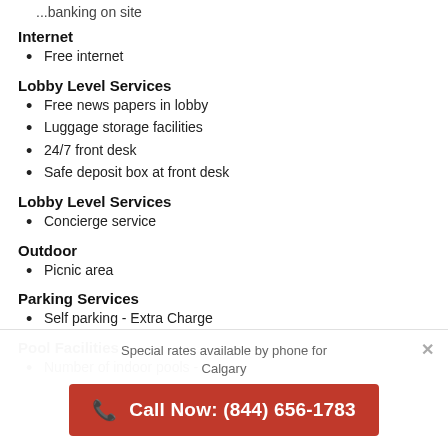...banking on site
Internet
Free internet
Lobby Level Services
Free news papers in lobby
Luggage storage facilities
24/7 front desk
Safe deposit box at front desk
Lobby Level Services
Concierge service
Outdoor
Picnic area
Parking Services
Self parking - Extra Charge
Pool Facilities
Number of indoor pools -
Special rates available by phone for Calgary
Call Now: (844) 656-1783